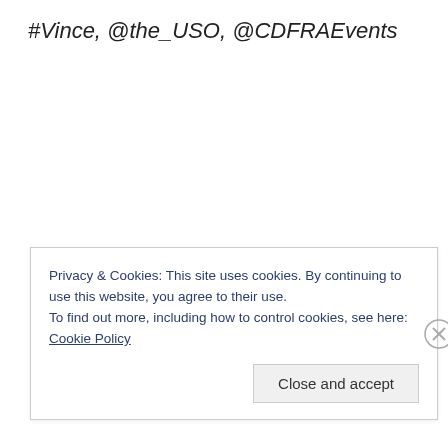#Vince, @the_USO, @CDFRAEvents
Privacy & Cookies: This site uses cookies. By continuing to use this website, you agree to their use.
To find out more, including how to control cookies, see here: Cookie Policy
Close and accept